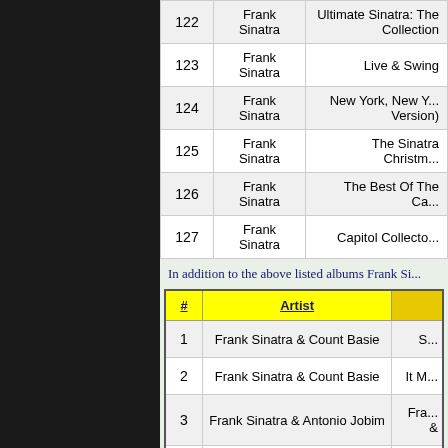| # | Artist | Album |
| --- | --- | --- |
| 122 | Frank Sinatra | Ultimate Sinatra: The Collection |
| 123 | Frank Sinatra | Live & Swing |
| 124 | Frank Sinatra | New York, New York (Version) |
| 125 | Frank Sinatra | The Sinatra Christmas |
| 126 | Frank Sinatra | The Best Of The Capitol |
| 127 | Frank Sinatra | Capitol Collectors |
In addition to the above listed albums Frank Si...
| # | Artist | Album |
| --- | --- | --- |
| 1 | Frank Sinatra & Count Basie | S... |
| 2 | Frank Sinatra & Count Basie | It M... |
| 3 | Frank Sinatra & Antonio Jobim | Fra... & ... |
| 4 | Frank Sinatra & Sammy Davis Jr | Chr... |